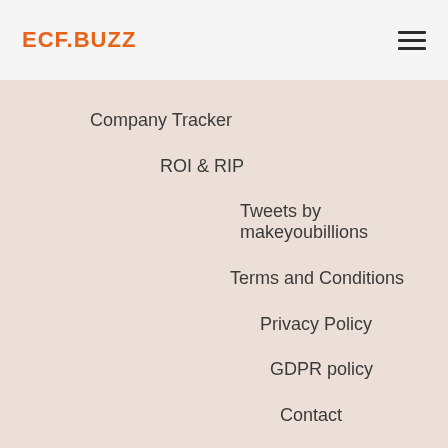ECF.BUZZ
Company Tracker
ROI & RIP
Tweets by makeyoubillions
Terms and Conditions
Privacy Policy
GDPR policy
Contact